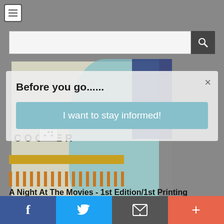[Figure (screenshot): Website screenshot showing hamburger menu icon in top left nav area]
[Figure (screenshot): Search bar with text input field and search icon button]
[Figure (photo): Book cover photo of 'A Night At The Movies' by Coover, showing illustrated cover with dice and silhouette figure]
Before you go......
I want to stay informed!
A Night At The Movies - 1st Edition/1st Printing
[Figure (screenshot): Bottom social share bar with Facebook, Twitter, Email, and Plus buttons]